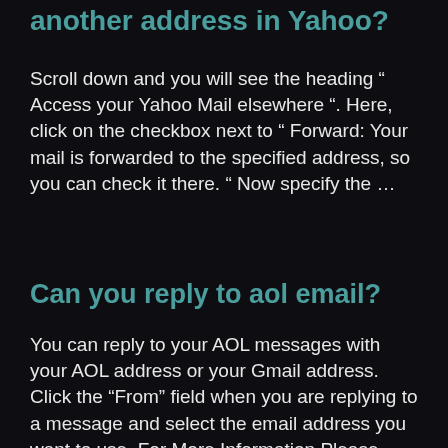another address in Yahoo?
Scroll down and you will see the heading “ Access your Yahoo Mail elsewhere “. Here, click on the checkbox next to “ Forward: Your mail is forwarded to the specified address, so you can check it there. “ Now specify the &hellip;
Can you reply to aol email?
You can reply to your AOL messages with your AOL address or your Gmail address. Click the “From” field when you are replying to a message and select the email address you want to use. For More Information Please Refer: &hellip;